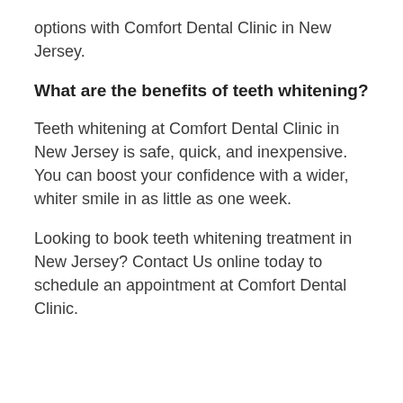options with Comfort Dental Clinic in New Jersey.
What are the benefits of teeth whitening?
Teeth whitening at Comfort Dental Clinic in New Jersey is safe, quick, and inexpensive. You can boost your confidence with a wider, whiter smile in as little as one week.
Looking to book teeth whitening treatment in New Jersey? Contact Us online today to schedule an appointment at Comfort Dental Clinic.